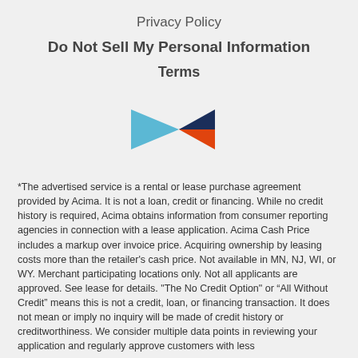Privacy Policy
Do Not Sell My Personal Information
Terms
[Figure (logo): Acima logo — abstract arrow shape made of three colored triangles: light blue (left), dark navy (top-right), orange-red (bottom-right), forming a rightward-pointing arrow/play-button shape.]
*The advertised service is a rental or lease purchase agreement provided by Acima. It is not a loan, credit or financing. While no credit history is required, Acima obtains information from consumer reporting agencies in connection with a lease application. Acima Cash Price includes a markup over invoice price. Acquiring ownership by leasing costs more than the retailer's cash price. Not available in MN, NJ, WI, or WY. Merchant participating locations only. Not all applicants are approved. See lease for details. "The No Credit Option" or “All Without Credit” means this is not a credit, loan, or financing transaction. It does not mean or imply no inquiry will be made of credit history or creditworthiness. We consider multiple data points in reviewing your application and regularly approve customers with less